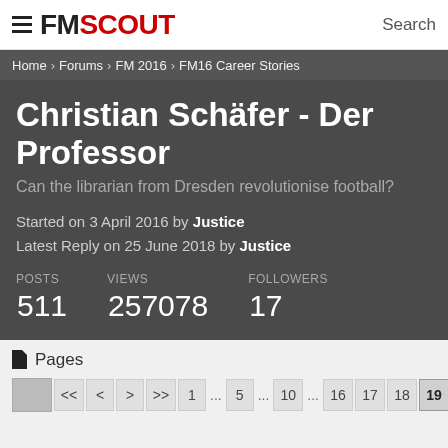≡ FMSCOUT   Search
Home › Forums › FM 2016 › FM16 Career Stories
Christian Schäfer - Der Professor
Can the librarian from Dresden revolutionise football?
Started on 3 April 2016 by Justice
Latest Reply on 25 June 2018 by Justice
| POSTS | VIEWS | FOLLOWERS |
| --- | --- | --- |
| 511 | 257078 | 17 |
📄 Pages
<< < > >> 1 ... 5 ... 10 ... 16 17 18 19 20 21